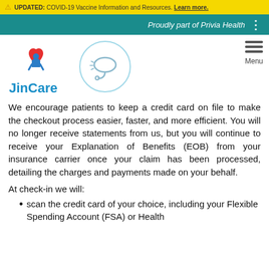UPDATED: COVID-19 Vaccine Information and Resources. Learn more.
Proudly part of Privia Health
[Figure (logo): JinCare logo with red heart and blue figure, alongside a circular badge with a medical device icon]
We encourage patients to keep a credit card on file to make the checkout process easier, faster, and more efficient. You will no longer receive statements from us, but you will continue to receive your Explanation of Benefits (EOB) from your insurance carrier once your claim has been processed, detailing the charges and payments made on your behalf.
At check-in we will:
scan the credit card of your choice, including your Flexible Spending Account (FSA) or Health